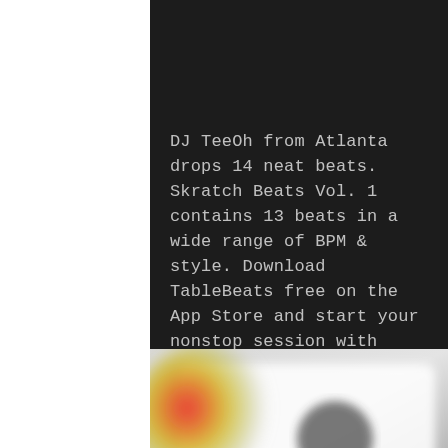DJ TeeOh from Atlanta drops 14 neat beats. Skratch Beats Vol. 1 contains 13 beats in a wide range of BPM & style. Download TableBeats free on the App Store and start your nonstop session with beats by "The Official" DJ TeeOh & many more.
[Figure (photo): Blurred image of a cassette tape with colorful (red, orange, yellow) artwork on the left side against a grey background]
[Figure (infographic): Social media icon bar with five icons: Instagram (black), Facebook (blue), YouTube (red), Twitter (light blue), Email/envelope (pink/magenta)]